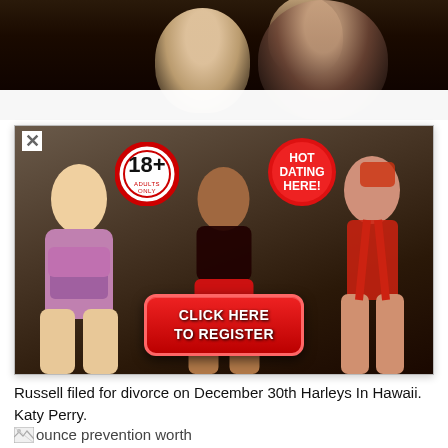[Figure (photo): Top portion of a photo showing people at what appears to be a party or event, dark background]
[Figure (photo): Adult dating advertisement popup showing three women in swimwear/lingerie, with an 18+ adults only badge, a 'HOT DATING HERE!' badge, and a red 'CLICK HERE TO REGISTER' button. Has a close X button in top left corner.]
Russell filed for divorce on December 30th Harleys In Hawaii. Katy Perry.
[Figure (photo): Broken image placeholder followed by text 'ounce prevention worth']